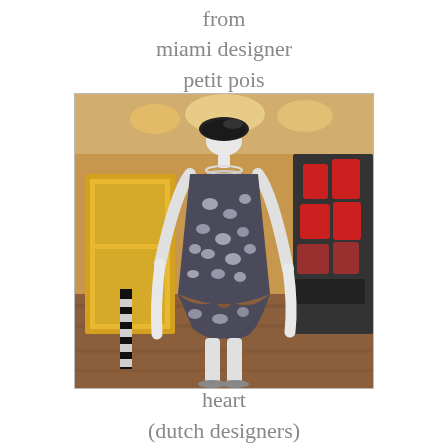from
miami designer
petit pois
[Figure (photo): A mannequin dressed in a black and white floral sleeveless dress with a black beret hat and white layered necklace, displayed in a boutique shop with handbags, hats, and accessories visible in the background.]
heart
(dutch designers)